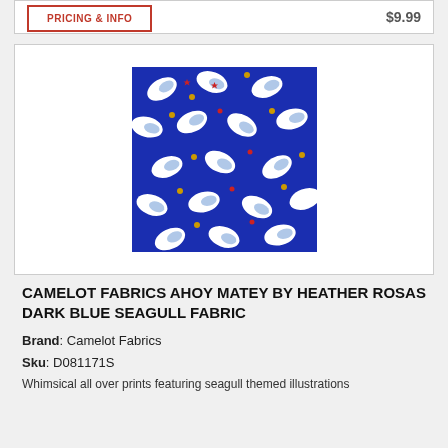PRICING & INFO   $9.99
[Figure (photo): Dark blue fabric with seagull themed illustrations, all-over print pattern with white seagulls and colorful small accents on a dark navy blue background]
CAMELOT FABRICS AHOY MATEY BY HEATHER ROSAS DARK BLUE SEAGULL FABRIC
Brand: Camelot Fabrics
Sku: D081171S
Whimsical all over prints featuring seagull themed illustrations